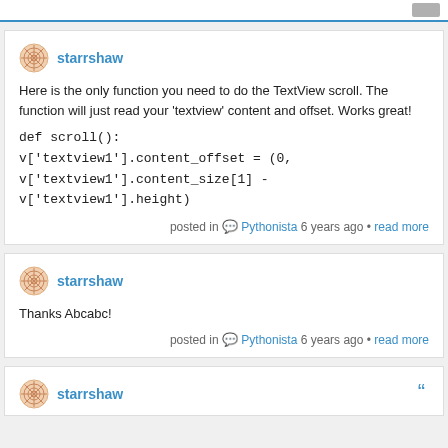starrshaw
Here is the only function you need to do the TextView scroll. The function will just read your 'textview' content and offset. Works great!
def scroll():
v['textview1'].content_offset = (0, v['textview1'].content_size[1] - v['textview1'].height)
posted in Pythonista 6 years ago • read more
starrshaw
Thanks Abcabc!
posted in Pythonista 6 years ago • read more
starrshaw